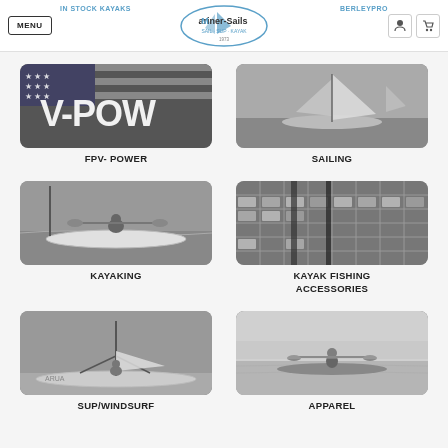IN STOCK KAYAKS | Mariner-Sails | BERLEYPRO
[Figure (photo): FPV-POWER category image with stylized V-POW text over US flag]
FPV- POWER
[Figure (photo): SAILING category image showing sailboats on water]
SAILING
[Figure (photo): KAYAKING category image showing person in kayak on water]
KAYAKING
[Figure (photo): KAYAK FISHING ACCESSORIES category image showing fishing accessories]
KAYAK FISHING ACCESSORIES
[Figure (photo): SUP/WINDSURF category image showing windsurfer]
SUP/WINDSURF
[Figure (photo): APPAREL category image showing person in kayak on calm water]
APPAREL